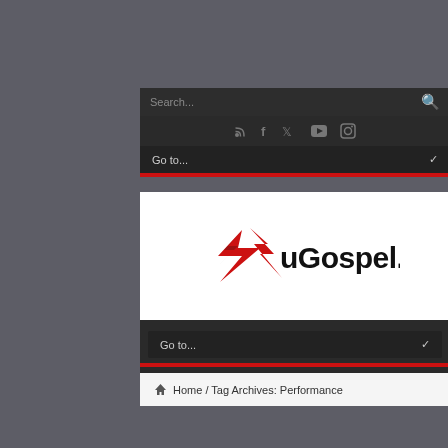[Figure (screenshot): Website screenshot of uGospel.com showing search bar, social media icons, navigation dropdown menus, logo, and breadcrumb navigation reading Home / Tag Archives: Performance]
Search...
[Figure (logo): uGospel.com logo with red arrow/lightning bolt graphic and black bold text uGospel.com]
Go to...
Go to...
Home / Tag Archives: Performance